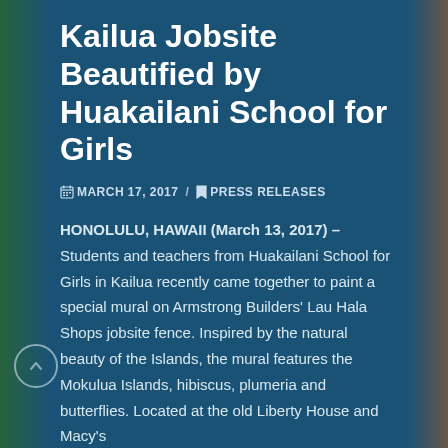Kailua Jobsite Beautified by Huakailani School for Girls
MARCH 17, 2017 / PRESS RELEASES
HONOLULU, HAWAII (March 13, 2017) – Students and teachers from Huakailani School for Girls in Kailua recently came together to paint a special mural on Armstrong Builders' Lau Hala Shops jobsite fence. Inspired by the natural beauty of the Islands, the mural features the Mokulua Islands, hibiscus, plumeria and butterflies. Located at the old Liberty House and Macy's